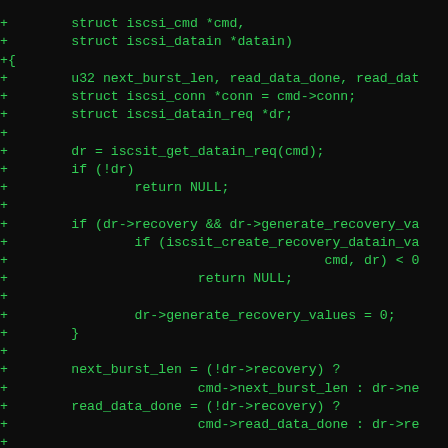[Figure (screenshot): Code diff screenshot showing C source code additions (green +) for an iSCSI data-in request function, including struct parameters, variable declarations, recovery value generation logic, and data length calculations, on a black background with green monospace text.]